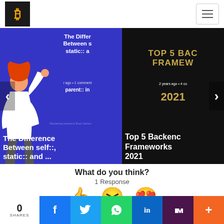Logo and hamburger menu navigation
[Figure (screenshot): Card carousel showing two article cards. Left card (blue background): 'The Difference Between self::, static:: and parent:: in' with 3D character figure, meta '1 comment'. Right card (dark background): 'TOP 5 BACKEND FRAMEWORKS 2021' in gold text, meta '2 years ago • 4 comments'. Navigation arrows on left and right sides.]
What do you think?
1 Response
[Figure (illustration): Three emoji icons: thumbs up, laughing face with tongue, heart eyes face]
0 SHARES | Facebook | Twitter | WhatsApp | LinkedIn | Slack | More